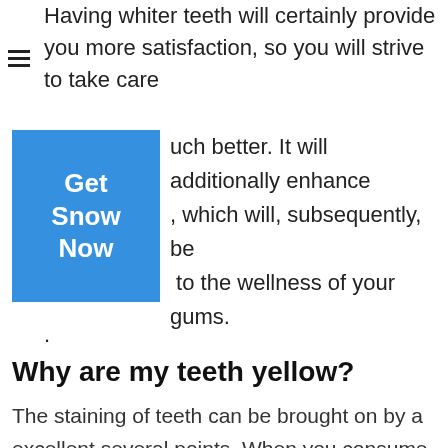Having whiter teeth will certainly provide you more satisfaction, so you will strive to take care of them much better. It will additionally enhance them, which will, subsequently, be beneficial to the wellness of your gums.
[Figure (other): Blue button overlay with white bold text reading 'Get Snow Now']
.
Why are my teeth yellow?
The staining of teeth can be brought on by a excellent several points. When you consume alcohol points like soft drink or red wine, the compounds can seep right into the enamel that is covering your tooth. Another common wrongdoer is using cigarette products. Hefty